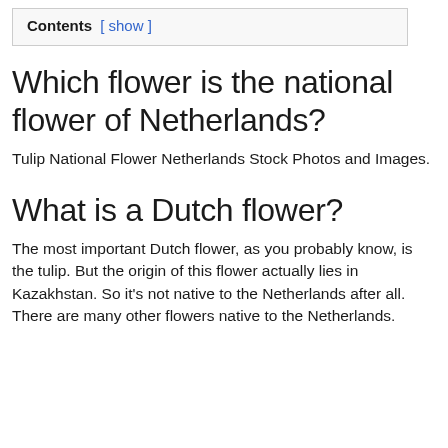Contents [ show ]
Which flower is the national flower of Netherlands?
Tulip National Flower Netherlands Stock Photos and Images.
What is a Dutch flower?
The most important Dutch flower, as you probably know, is the tulip. But the origin of this flower actually lies in Kazakhstan. So it’s not native to the Netherlands after all. There are many other flowers native to the Netherlands.